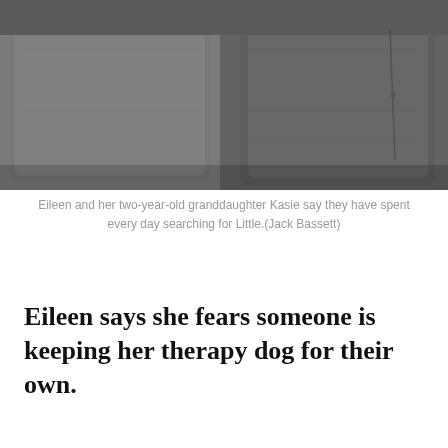[Figure (photo): Close-up photo of a gray/dark fabric sofa or couch cushions, showing the upper portion of the image. The fabric appears to be a textured gray upholstery.]
Eileen and her two-year-old granddaughter Kasie say they have spent every day searching for Little.(Jack Bassett)
Eileen says she fears someone is keeping her therapy dog for their own.